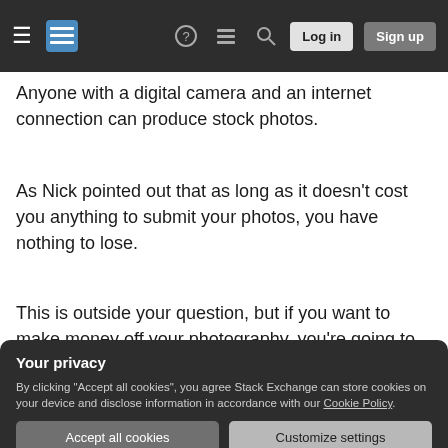Stack Exchange navigation bar with hamburger menu, logo, help, chat, search icons, Log in and Sign up buttons
Anyone with a digital camera and an internet connection can produce stock photos.
As Nick pointed out that as long as it doesn't cost you anything to submit your photos, you have nothing to lose.
This is outside your question, but if you want to make money off your photography, you're going to want to be creative and see what areas are underserved and target them. Assuming you are in
Your privacy
By clicking "Accept all cookies", you agree Stack Exchange can store cookies on your device and disclose information in accordance with our Cookie Policy.
Accept all cookies   Customize settings
pets for adoption. Most shelters dont spend any